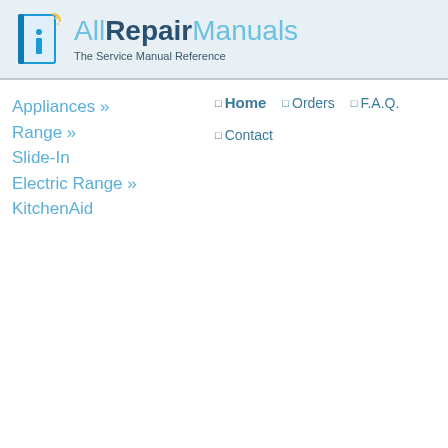AllRepairManuals — The Service Manual Reference
Appliances » Range » Slide-In Electric Range » KitchenAid
Home | Orders | F.A.Q. | Contact